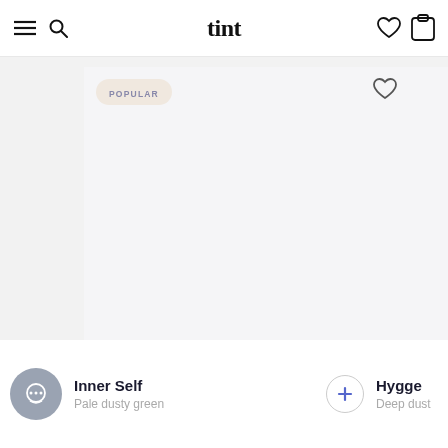tint
[Figure (screenshot): App screenshot showing a color swatch card with POPULAR badge and heart icon on a light gray background]
Inner Self
Pale dusty green
Hygge
Deep dust